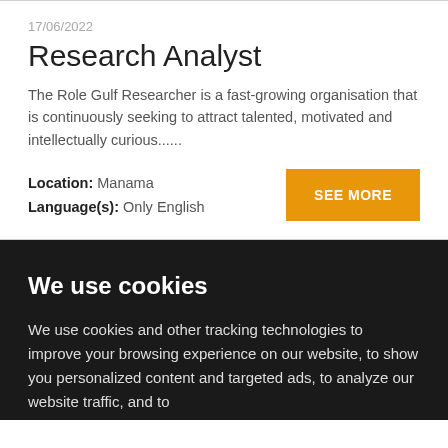17/06/2022
Research Analyst
The Role Gulf Researcher is a fast-growing organisation that is continuously seeking to attract talented, motivated and intellectually curious......
Location: Manama
Language(s): Only English
We use cookies
We use cookies and other tracking technologies to improve your browsing experience on our website, to show you personalized content and targeted ads, to analyze our website traffic, and to